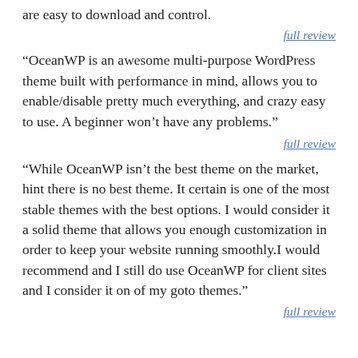are easy to download and control.
full review
“OceanWP is an awesome multi-purpose WordPress theme built with performance in mind, allows you to enable/disable pretty much everything, and crazy easy to use. A beginner won’t have any problems.”
full review
“While OceanWP isn’t the best theme on the market, hint there is no best theme. It certain is one of the most stable themes with the best options. I would consider it a solid theme that allows you enough customization in order to keep your website running smoothly.I would recommend and I still do use OceanWP for client sites and I consider it on of my goto themes.”
full review